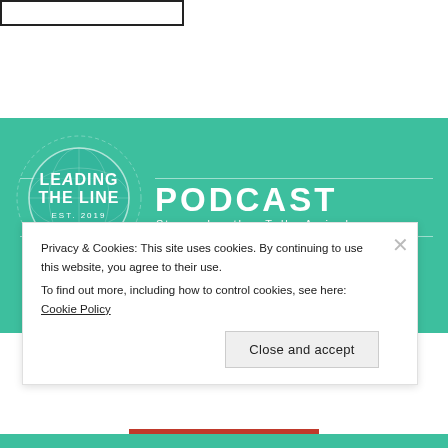[Figure (logo): Search box / input field at top of page]
[Figure (logo): Leading The Line Podcast logo banner with teal background. Circle logo with text LEADING THE LINE EST. 2019, followed by PODCAST and subtitle Steven Lawther Talks Arrival]
Privacy & Cookies: This site uses cookies. By continuing to use this website, you agree to their use. To find out more, including how to control cookies, see here: Cookie Policy
Close and accept